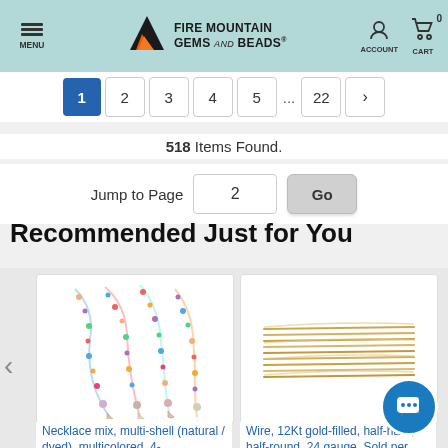Fire Mountain Gems and Beads
1 2 3 4 5 ... 22 >
518 Items Found.
Jump to Page  2  Go
Recommended Just for You
[Figure (photo): Colorful multi-shell necklace mix product image]
Necklace mix, multi-shell (natural / dyed), multicolored, 4-
[Figure (photo): Gold wire coils product image - Wire, 12Kt gold-filled]
Wire, 12Kt gold-filled, half-hard, half-round, 24 gauge. Sold per